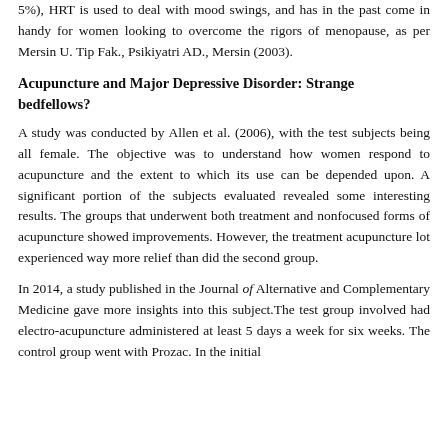5%), HRT is used to deal with mood swings, and has in the past come in handy for women looking to overcome the rigors of menopause, as per Mersin U. Tip Fak., Psikiyatri AD., Mersin (2003).
Acupuncture and Major Depressive Disorder: Strange bedfellows?
A study was conducted by Allen et al. (2006), with the test subjects being all female. The objective was to understand how women respond to acupuncture and the extent to which its use can be depended upon. A significant portion of the subjects evaluated revealed some interesting results. The groups that underwent both treatment and nonfocused forms of acupuncture showed improvements. However, the treatment acupuncture lot experienced way more relief than did the second group.
In 2014, a study published in the Journal of Alternative and Complementary Medicine gave more insights into this subject. The test group involved had electro-acupuncture administered at least 5 days a week for six weeks. The control group went with Prozac. In the initial